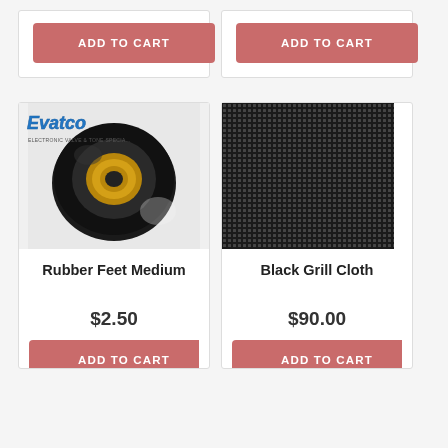[Figure (photo): Top partial product card with ADD TO CART button (left)]
[Figure (photo): Top partial product card with ADD TO CART button (right)]
[Figure (photo): Rubber feet medium product photo with Evatco logo overlay]
Rubber Feet Medium
$2.50
[Figure (photo): Black grill cloth fabric texture close-up]
Black Grill Cloth
$90.00